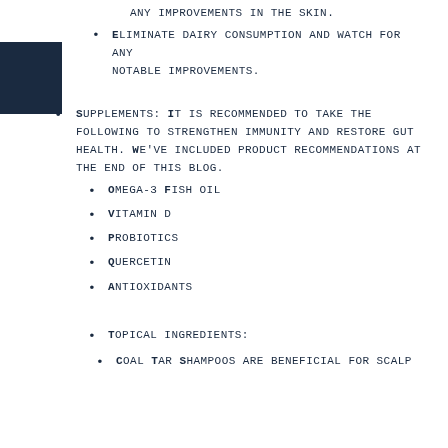any improvements in the skin.
Eliminate dairy consumption and watch for any notable improvements.
Supplements: It is recommended to take the following to strengthen immunity and restore gut health. We've included product recommendations at the end of this blog.
Omega-3 Fish oil
Vitamin D
Probiotics
Quercetin
Antioxidants
Topical ingredients:
Coal Tar Shampoos are beneficial for scalp